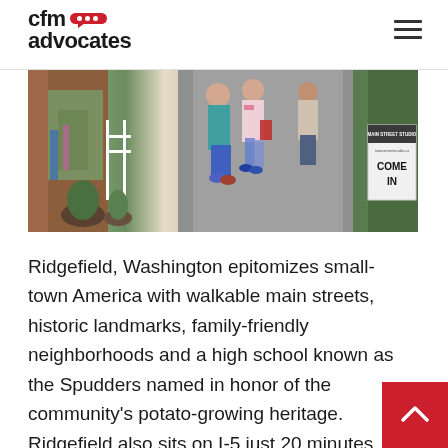[Figure (logo): CFM Advocates logo with red speech bubble containing three white dots]
[Figure (photo): Street scene showing people standing outside shops on a walkable main street, with a 'Main Street Studio - Come In' sign visible on the right]
Ridgefield, Washington epitomizes small-town America with walkable main streets, historic landmarks, family-friendly neighborhoods and a high school known as the Spudders named in honor of the community's potato-growing heritage. Ridgefield also sits on I-5 just 20 minutes north of Portland International Airport and has become one of the fastest growing